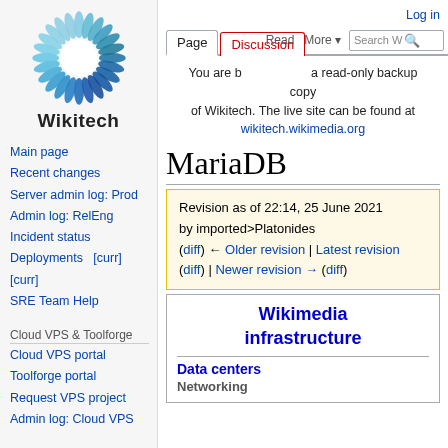[Figure (logo): Wikitech sunflower logo with text 'Wikitech' below]
Main page
Recent changes
Server admin log: Prod
Admin log: RelEng
Incident status
Deployments   [curr] [curr]
SRE Team Help
Cloud VPS & Toolforge
Cloud VPS portal
Toolforge portal
Request VPS project
Admin log: Cloud VPS
Log in
You are browsing a read-only backup copy of Wikitech. The live site can be found at wikitech.wikimedia.org
MariaDB
Revision as of 22:14, 25 June 2021 by imported>Platonides (diff) ← Older revision | Latest revision (diff) | Newer revision → (diff)
Wikimedia infrastructure
Data centers
Networking